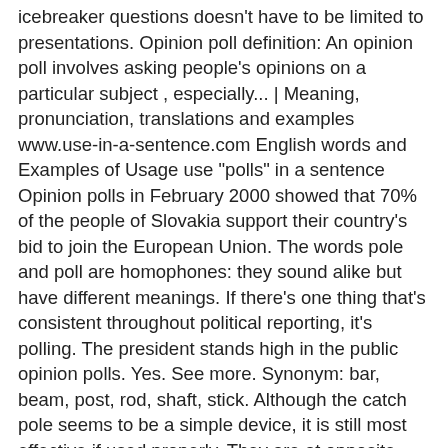icebreaker questions doesn't have to be limited to presentations. Opinion poll definition: An opinion poll involves asking people's opinions on a particular subject , especially... | Meaning, pronunciation, translations and examples www.use-in-a-sentence.com English words and Examples of Usage use "polls" in a sentence Opinion polls in February 2000 showed that 70% of the people of Slovakia support their country's bid to join the European Union. The words pole and poll are homophones: they sound alike but have different meanings. If there's one thing that's consistent throughout political reporting, it's polling. The president stands high in the public opinion polls. Yes. See more. Synonym: bar, beam, post, rod, shaft, stick. Although the catch pole seems to be a simple device, it is still most effective if used properly. They are at opposite poles. Sentence Examples. If the list of all the potential options is less than 7 — use a poll. Similarly, the verb poll means to record votes or to ask questions in a survey. Half of all Fortune 1000 companies use Poll Everywhere in events including marketing presentations, training, sales demos, and TV shows. 99 examples: We should be helping here, instead of competing for pole position in the export… Examples of poll tax in a sentence, how to use it. 27. 6: to check (devices, such as several computer terminals sharing a single line) in sequence